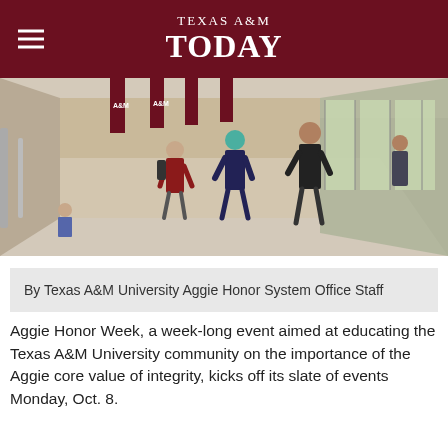TEXAS A&M TODAY
[Figure (photo): Wide hallway of a Texas A&M University building with students walking. Maroon banners with A&M logos hang from the ceiling. Large windows on the right side let in natural light. Students are seen walking, sitting, and moving through the corridor.]
By Texas A&M University Aggie Honor System Office Staff
Aggie Honor Week, a week-long event aimed at educating the Texas A&M University community on the importance of the Aggie core value of integrity, kicks off its slate of events Monday, Oct. 8.